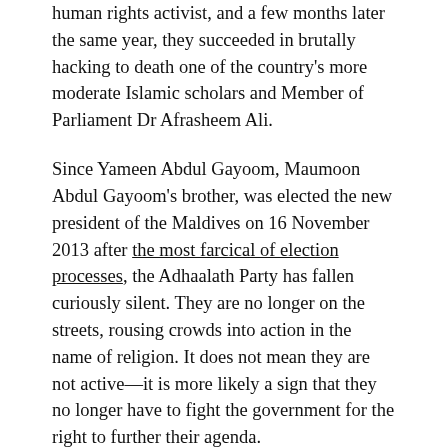human rights activist, and a few months later the same year, they succeeded in brutally hacking to death one of the country's more moderate Islamic scholars and Member of Parliament Dr Afrasheem Ali.
Since Yameen Abdul Gayoom, Maumoon Abdul Gayoom's brother, was elected the new president of the Maldives on 16 November 2013 after the most farcical of election processes, the Adhaalath Party has fallen curiously silent. They are no longer on the streets, rousing crowds into action in the name of religion. It does not mean they are not active—it is more likely a sign that they no longer have to fight the government for the right to further their agenda.
This year alone, for example, they have quietly made several significant changes to laws and